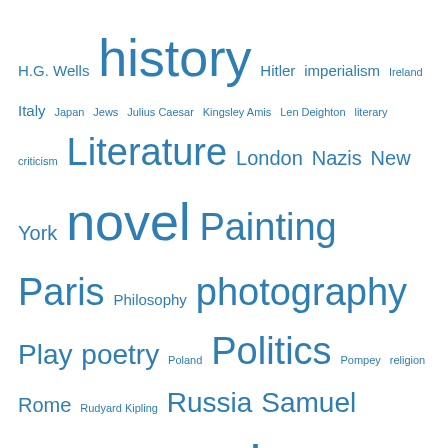[Figure (other): Tag cloud with words of varying sizes in blue, including: H.G. Wells, history, Hitler, imperialism, Ireland, Italy, Japan, Jews, Julius Caesar, Kingsley Amis, Len Deighton, literary criticism, Literature, London, Nazis, New York, novel, Painting, Paris, Philosophy, photography, Play, poetry, Poland, Politics, Pompey, religion, Rome, Rudyard Kipling, Russia, Samuel Beckett, satire, science fiction, sculpture, Second World War, sex, short stories, Slavery, Soviet Union, Spain, Spy novel, Stalin, Surrealism, Tate Britain, Tate Modern, theatre, thriller, war]
Categories
Adventure (126)
Africa (60)
America (85)